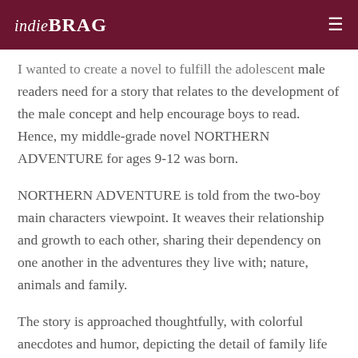indieBRAG
I wanted to create a novel to fulfill the adolescent male readers need for a story that relates to the development of the male concept and help encourage boys to read. Hence, my middle-grade novel NORTHERN ADVENTURE for ages 9-12 was born.
NORTHERN ADVENTURE is told from the two-boy main characters viewpoint. It weaves their relationship and growth to each other, sharing their dependency on one another in the adventures they live with; nature, animals and family.
The story is approached thoughtfully, with colorful anecdotes and humor, depicting the detail of family life as lived on a Wisconsin farm in 1950; and,